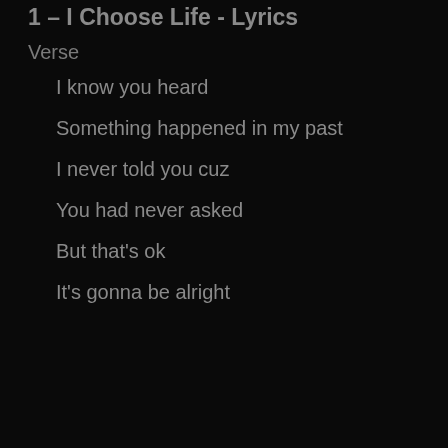1 – I Choose Life - Lyrics
Verse
I know you heard
Something happened in my past
I never told you cuz
You had never asked
But that's ok
It's gonna be alright